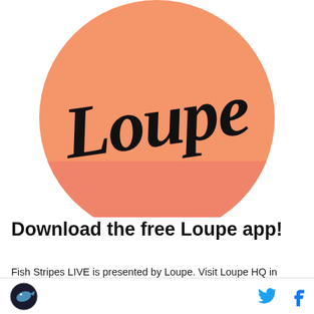[Figure (logo): Loupe app logo: a large salmon/peach-colored circle with the word 'Loupe' written in black cursive/script font. The bottom half of the circle is a slightly darker salmon shade.]
Download the free Loupe app!
Fish Stripes LIVE is presented by Loupe. Visit Loupe HQ in Wynwood (285 NW 26th St.) and download the free Loupe app!
Fish Stripes logo | Twitter icon | Facebook icon